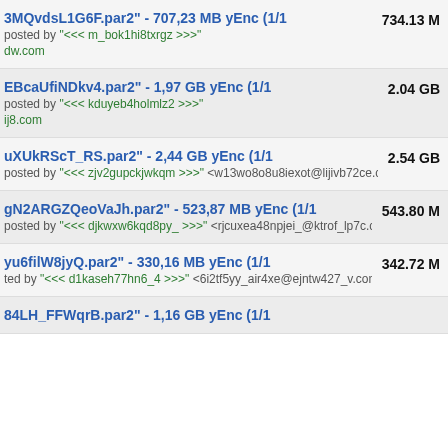3MQvdsL1G6F.par2" - 707,23 MB yEnc (1/1
Posted by "<<< m_bok1hi8txrgz >>>" dw.com
734.13 M
EBcaUfiNDkv4.par2" - 1,97 GB yEnc (1/1
Posted by "<<< kduyeb4holmlz2 >>>" ij8.com
2.04 GB
uXUkRScT_RS.par2" - 2,44 GB yEnc (1/1
Posted by "<<< zjv2gupckjwkqm >>>" <w13wo8o8u8iexot@lijivb72ce.com
2.54 GB
gN2ARGZQeoVaJh.par2" - 523,87 MB yEnc (1/1
Posted by "<<< djkwxw6kqd8py_ >>>" <rjcuxea48npjei_@ktrof_lp7c.com
543.80 M
yu6filW8jyQ.par2" - 330,16 MB yEnc (1/1
ted by "<<< d1kaseh77hn6_4 >>>" <6i2tf5yy_air4xe@ejntw427_v.com
342.72 M
84LH_FFWqrB.par2" - 1,16 GB yEnc (1/1